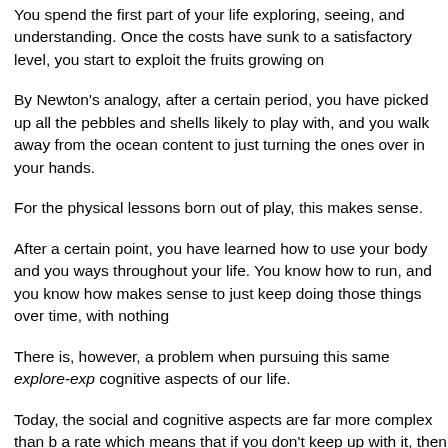You spend the first part of your life exploring, seeing, and understanding. Once the costs have sunk to a satisfactory level, you start to exploit the fruits growing on...
By Newton's analogy, after a certain period, you have picked up all the pebbles and shells likely to play with, and you walk away from the ocean content to just turning over the ones over in your hands.
For the physical lessons born out of play, this makes sense.
After a certain point, you have learned how to use your body and you keep using those ways throughout your life. You know how to run, and you know how to walk. It makes sense to just keep doing those things over time, with nothing...
There is, however, a problem when pursuing this same explore-exploit strategy for the cognitive aspects of our life.
Today, the social and cognitive aspects are far more complex than before and they change at a rate which means that if you don't keep up with it, then you no longer understand the reality as you live in it.
In a world that doesn't change too fast, a brief childhood of exploration gives you all the information you would need to deal with the various norms around you and the various patterns that are likely to arise.
But in a culture that is increasingly networked, doubling the amount of information every few years, there can no longer be a difference between the explora...
Newton's search for truth moved him from pebble to shell througho...